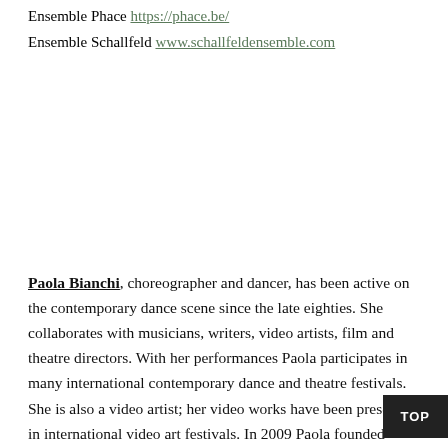Ensemble Phace https://phace.be/
Ensemble Schallfeld www.schallfeldensemble.com
Paola Bianchi, choreographer and dancer, has been active on the contemporary dance scene since the late eighties. She collaborates with musicians, writers, video artists, film and theatre directors. With her performances Paola participates in many international contemporary dance and theatre festivals. She is also a video artist; her video works have been presented in international video art festivals. In 2009 Paola founded [collettivo] c_a_p, a collective of choreographers and scholars, engaged in the